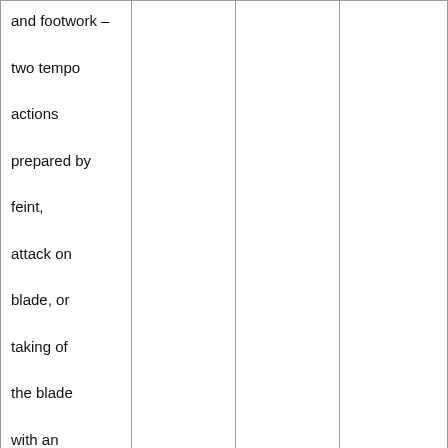| and footwork – two tempo actions prepared by feint, attack on blade, or taking of the blade with an advance |  |  |  |
| Bladework and footwork – two tempo actions |  |  |  |